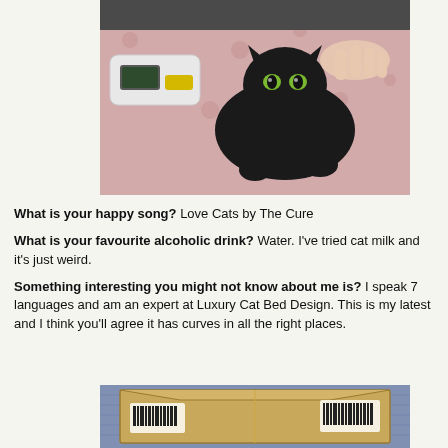[Figure (photo): A black cat lying on a pink polka-dot blanket at a vet, with a white and yellow medical device (likely a thermometer or scanner) nearby, and a human hand touching the cat.]
What is your happy song? Love Cats by The Cure
What is your favourite alcoholic drink? Water. I've tried cat milk and it's just weird.
Something interesting you might not know about me is? I speak 7 languages and am an expert at Luxury Cat Bed Design. This is my latest and I think you'll agree it has curves in all the right places.
[Figure (photo): A flattened cardboard box (Amazon or similar) lying on a patterned blue fabric or blanket, serving as a makeshift cat bed.]